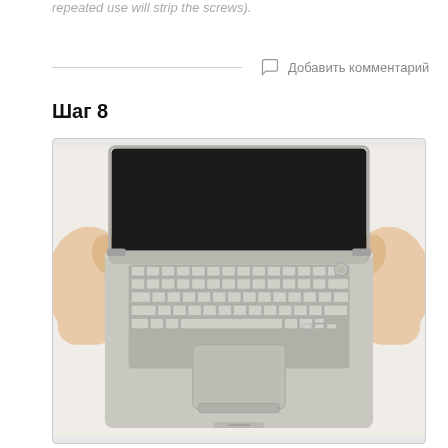repeated use will strip the screws).
Добавить комментарий
Шаг 8
[Figure (photo): Person holding open MacBook Pro laptop from both sides, showing keyboard and trackpad from above, with screen open showing black display.]